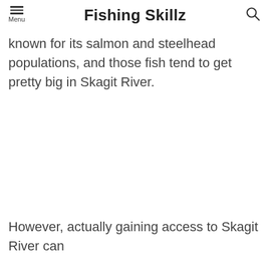Fishing Skillz
known for its salmon and steelhead populations, and those fish tend to get pretty big in Skagit River.
However, actually gaining access to Skagit River can